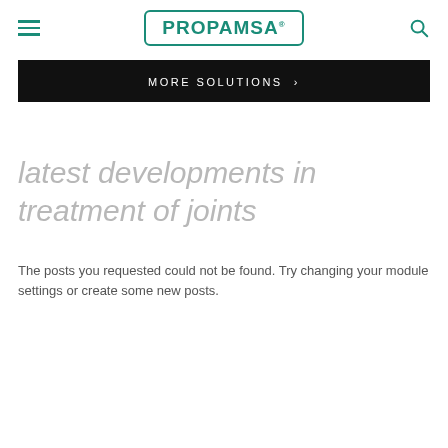PROPAMSA
MORE SOLUTIONS >
latest developments in treatment of joints
The posts you requested could not be found. Try changing your module settings or create some new posts.